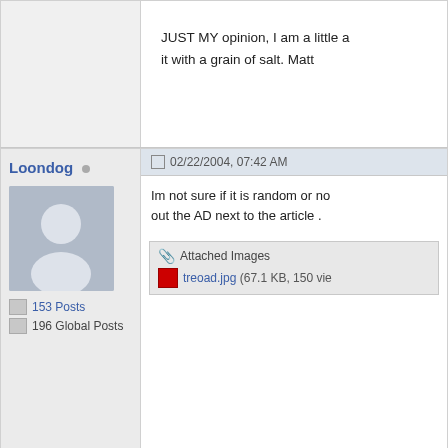JUST MY opinion, I am a little a... it with a grain of salt. Matt
Loondog
153 Posts
196 Global Posts
02/22/2004, 07:42 AM
Im not sure if it is random or no... out the AD next to the article .
Attached Images
treoad.jpg (67.1 KB, 150 vie...
craigdts
02/22/2004, 08:16 AM
are u kidding me? that one c...